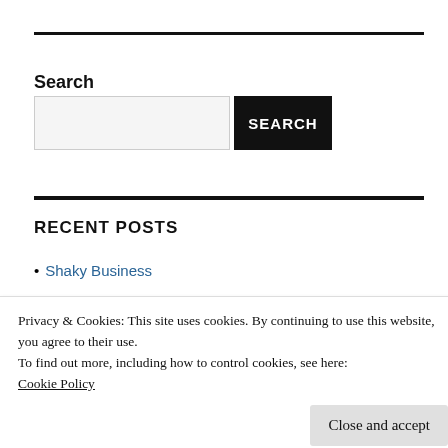Search
[Figure (other): Search input box and SEARCH button]
RECENT POSTS
Shaky Business
Privacy & Cookies: This site uses cookies. By continuing to use this website, you agree to their use.
To find out more, including how to control cookies, see here:
Cookie Policy
Vaccination Vacination